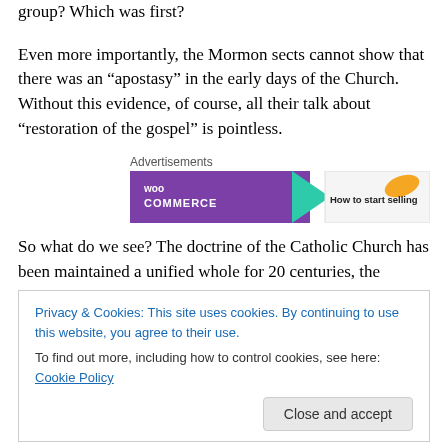group? Which was first?
Even more importantly, the Mormon sects cannot show that there was an “apostasy” in the early days of the Church. Without this evidence, of course, all their talk about “restoration of the gospel” is pointless.
[Figure (other): WooCommerce advertisement banner: purple left section with WooCommerce logo, teal arrow, right section with orange leaf and text 'How to start selling']
So what do we see? The doctrine of the Catholic Church has been maintained a unified whole for 20 centuries, the
Privacy & Cookies: This site uses cookies. By continuing to use this website, you agree to their use.
To find out more, including how to control cookies, see here: Cookie Policy
The one true Church has exhibited doctrinal unity through